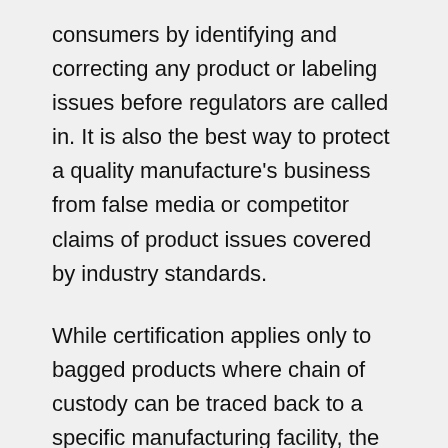consumers by identifying and correcting any product or labeling issues before regulators are called in. It is also the best way to protect a quality manufacture's business from false media or competitor claims of product issues covered by industry standards.
While certification applies only to bagged products where chain of custody can be traced back to a specific manufacturing facility, the same cannot be done for bulk loads. But, there is definitely a need to differentiate legitimate producers from fly-by-night operators; so, the MSC created the Elite Bulk Membership.